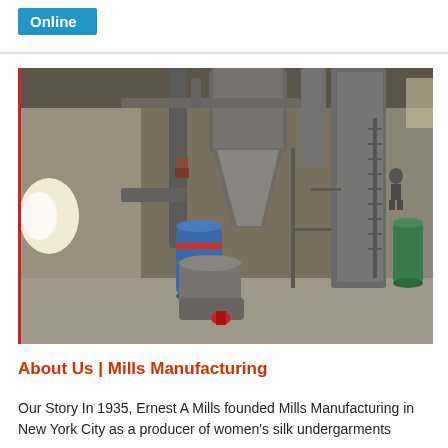Online
[Figure (photo): Industrial mill interior showing large metal silos, conical hoppers, pipes, and milling equipment in a warehouse-like space with a worker visible in the background.]
About Us | Mills Manufacturing
Our Story In 1935, Ernest A Mills founded Mills Manufacturing in New York City as a producer of women's silk undergarments